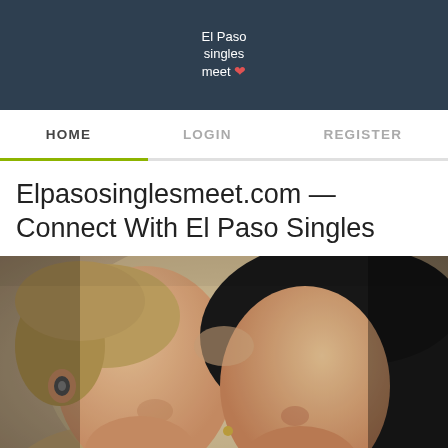El Paso singles meet ❤
HOME   LOGIN   REGISTER
Elpasosinglesmeet.com — Connect With El Paso Singles
[Figure (photo): Close-up photo of two people facing each other intimately, one with short blonde hair and gauged earrings, the other with dark hair.]